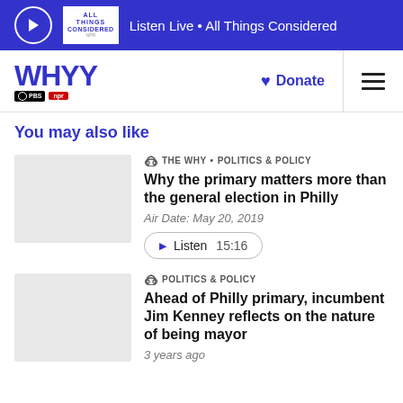Listen Live • All Things Considered
[Figure (logo): WHYY PBS NPR logo with Donate button and hamburger menu]
You may also like
[Figure (photo): Thumbnail image placeholder (light gray)]
THE WHY • POLITICS & POLICY
Why the primary matters more than the general election in Philly
Air Date: May 20, 2019
Listen  15:16
[Figure (photo): Thumbnail image placeholder (light gray)]
POLITICS & POLICY
Ahead of Philly primary, incumbent Jim Kenney reflects on the nature of being mayor
3 years ago